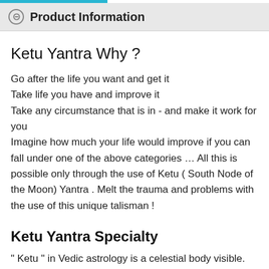Product Information
Ketu Yantra Why ?
Go after the life you want and get it
Take life you have and improve it
Take any circumstance that is in - and make it work for you
Imagine how much your life would improve if you can fall under one of the above categories … All this is possible only through the use of Ketu ( South Node of the Moon) Yantra . Melt the trauma and problems with the use of this unique talisman !
Ketu Yantra Specialty
" Ketu " in Vedic astrology is a celestial body visible. This is what is generally known as a planet "shadow", as it is